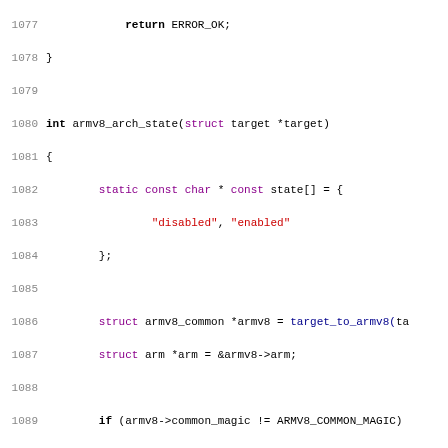[Figure (screenshot): Source code listing in C, lines 1077-1108, showing function armv8_arch_state with syntax highlighting: keywords in bold black, types/structs in purple, function calls in blue, string literals in red, line numbers in gray.]